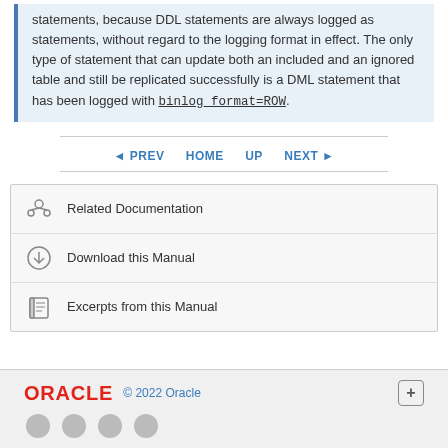statements, because DDL statements are always logged as statements, without regard to the logging format in effect. The only type of statement that can update both an included and an ignored table and still be replicated successfully is a DML statement that has been logged with binlog_format=ROW.
◄ PREV  HOME  UP  NEXT ►
Related Documentation
Download this Manual
Excerpts from this Manual
ORACLE  © 2022 Oracle